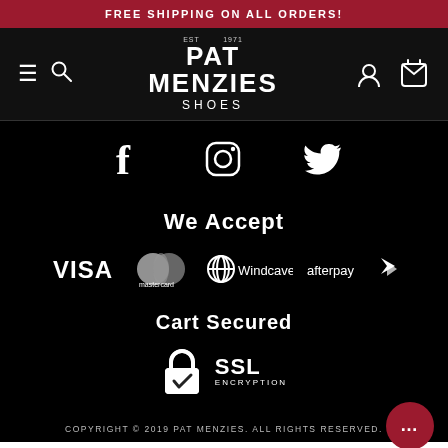FREE SHIPPING ON ALL ORDERS!
[Figure (logo): Pat Menzies Shoes logo with hamburger menu, search icon, account icon and cart icon in navigation bar]
[Figure (infographic): Social media icons: Facebook, Instagram, Twitter on black background]
We Accept
[Figure (infographic): Payment method logos: VISA, Mastercard, Windcave, Afterpay on black background]
Cart Secured
[Figure (infographic): SSL Encryption lock icon and SSL ENCRYPTION text on black background]
COPYRIGHT © 2019 PAT MENZIES. ALL RIGHTS RESERVED.